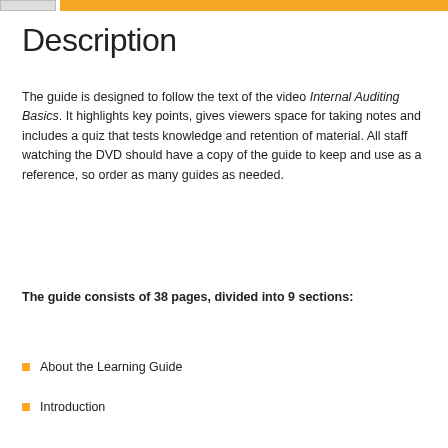Description
The guide is designed to follow the text of the video Internal Auditing Basics. It highlights key points, gives viewers space for taking notes and includes a quiz that tests knowledge and retention of material. All staff watching the DVD should have a copy of the guide to keep and use as a reference, so order as many guides as needed.
The guide consists of 38 pages, divided into 9 sections:
About the Learning Guide
Introduction